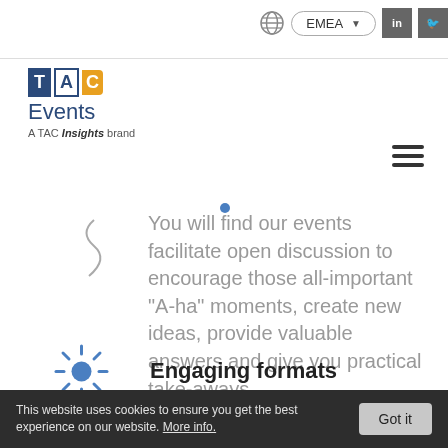TAC Events — A TAC Insights brand | EMEA
[Figure (logo): TAC Events logo — TAC in colored letter blocks (blue T, white A, orange C), 'Events' in blue, 'A TAC Insights brand' in gray beneath]
You will find our events facilitate open discussion to encourage those all-important “A-ha” moments, create new ideas, provide valuable answers and give you practical take-aways.
Engaging formats
This website uses cookies to ensure you get the best experience on our website. More info. Got it